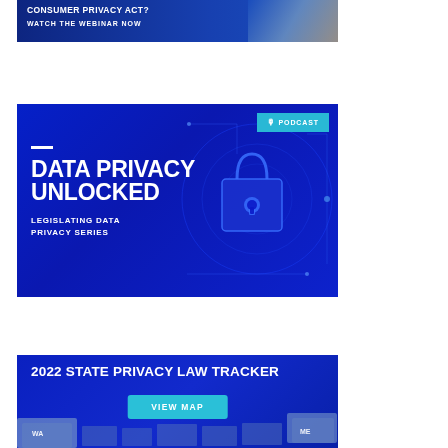[Figure (illustration): Promotional banner (cropped top): dark blue background with bold white text about Consumer Privacy Act webinar. Text reads 'CONSUMER PRIVACY ACT? WATCH THE WEBINAR NOW']
[Figure (illustration): Podcast promotional banner: dark blue background with circuit/lock digital graphic on right. Teal 'PODCAST' badge top right. White text: 'DATA PRIVACY UNLOCKED' in large bold letters, 'LEGISLATING DATA PRIVACY SERIES' beneath. White rule above title.]
[Figure (illustration): 2022 State Privacy Law Tracker banner: dark blue background with large white bold text '2022 STATE PRIVACY LAW TRACKER', teal 'VIEW MAP' button, and partial US state map graphic at bottom.]